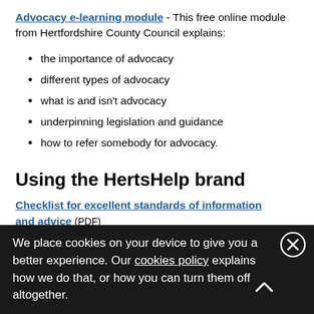Advocacy e-learning module - This free online module from Hertfordshire County Council explains:
the importance of advocacy
different types of advocacy
what is and isn't advocacy
underpinning legislation and guidance
how to refer somebody for advocacy.
Using the HertsHelp brand
Checklist for excellent standards of information and advice (PDF)
We place cookies on your device to give you a better experience. Our cookies policy explains how we do that, or how you can turn them off altogether.